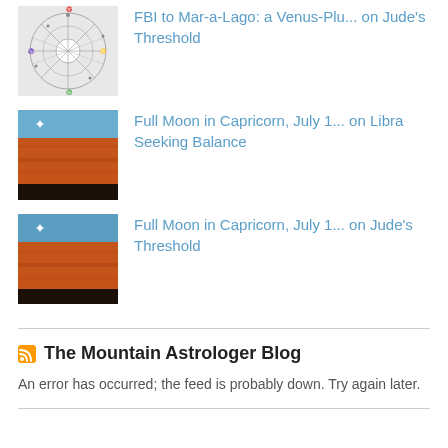[Figure (illustration): Astrology chart / star map thumbnail sketch in black and white]
FBI to Mar-a-Lago: a Venus-Plu... on Jude's Threshold
[Figure (photo): Orange sandstone cliff face with small white star, blue sky]
Full Moon in Capricorn, July 1... on Libra Seeking Balance
[Figure (photo): Orange sandstone cliff face with small white star, dark sky at bottom]
Full Moon in Capricorn, July 1... on Jude's Threshold
The Mountain Astrologer Blog
An error has occurred; the feed is probably down. Try again later.